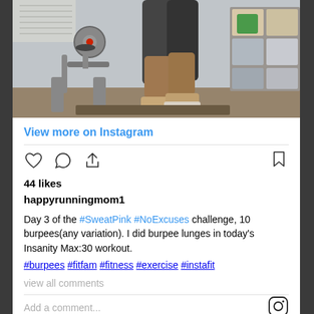[Figure (photo): A person standing in a home gym next to a stationary exercise bike. Person is wearing dark shorts, visible from waist down. Storage cubes with fabric bins visible in background on right side. Wood floor visible at bottom.]
View more on Instagram
44 likes
happyrunningmom1
Day 3 of the #SweatPink #NoExcuses challenge, 10 burpees(any variation). I did burpee lunges in today's Insanity Max:30 workout.
#burpees #fitfam #fitness #exercise #instafit
view all comments
Add a comment...